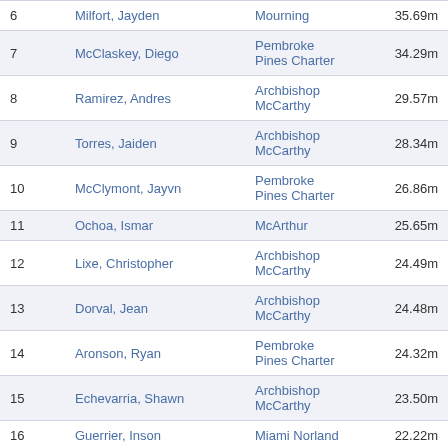|  | Athlete | Team | Mark |
| --- | --- | --- | --- |
| 6 | Milfort, Jayden | Mourning | 35.69m |
| 7 | McClaskey, Diego | Pembroke Pines Charter | 34.29m |
| 8 | Ramirez, Andres | Archbishop McCarthy | 29.57m |
| 9 | Torres, Jaiden | Archbishop McCarthy | 28.34m |
| 10 | McClymont, Jayvn | Pembroke Pines Charter | 26.86m |
| 11 | Ochoa, Ismar | McArthur | 25.65m |
| 12 | Lixe, Christopher | Archbishop McCarthy | 24.49m |
| 13 | Dorval, Jean | Archbishop McCarthy | 24.48m |
| 14 | Aronson, Ryan | Pembroke Pines Charter | 24.32m |
| 15 | Echevarria, Shawn | Archbishop McCarthy | 23.50m |
| 16 | Guerrier, Inson | Miami Norland | 22.22m |
Javelin   FHSAA 3A  41.05m   Top↑
|  | Athlete | Team | Mark |
| --- | --- | --- | --- |